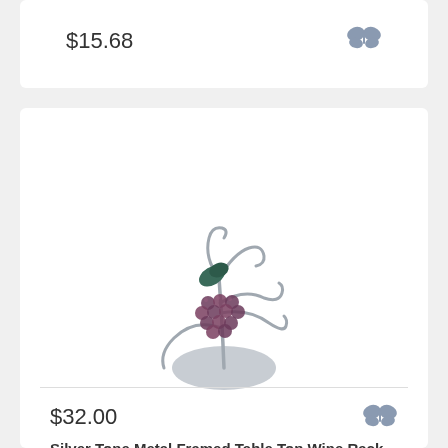$15.68
[Figure (photo): Silver tone metal framed table top wine rack with decorative grape cluster and curling wire stems on a flat base]
Silver Tone Metal Framed Table Top Wine Rack Wi...
$32.00